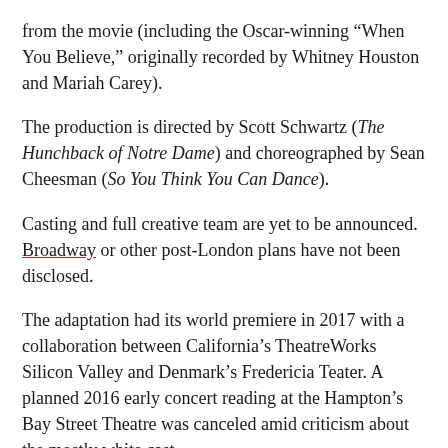from the movie (including the Oscar-winning “When You Believe,” originally recorded by Whitney Houston and Mariah Carey).
The production is directed by Scott Schwartz (The Hunchback of Notre Dame) and choreographed by Sean Cheesman (So You Think You Can Dance).
Casting and full creative team are yet to be announced. Broadway or other post-London plans have not been disclosed.
The adaptation had its world premiere in 2017 with a collaboration between California’s TheatreWorks Silicon Valley and Denmark’s Fredericia Teater. A planned 2016 early concert reading at the Hampton’s Bay Street Theatre was canceled amid criticism about the mostly white cast.
The Prince of Egypt tells the Exodus story as, in DreamWorks Theatricals description, “two young men, raised together as brothers in a kingdom of privilege, find themselves suddenly